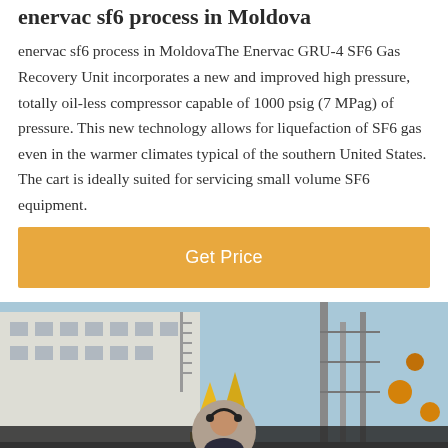enervac sf6 process in Moldova
enervac sf6 process in MoldovaThe Enervac GRU-4 SF6 Gas Recovery Unit incorporates a new and improved high pressure, totally oil-less compressor capable of 1000 psig (7 MPag) of pressure. This new technology allows for liquefaction of SF6 gas even in the warmer climates typical of the southern United States. The cart is ideally suited for servicing small volume SF6 equipment.
[Figure (other): Orange/amber 'Get Price' button]
[Figure (photo): Industrial facility exterior with white building, yellow structures, and large electrical or industrial equipment with crane-like metal structures against a blue sky. Bottom overlay bar with 'Leave Message' and 'Chat Online' options and a customer service avatar.]